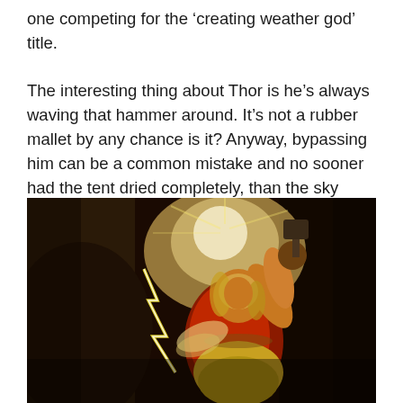one competing for the ‘creating weather god’ title.

The interesting thing about Thor is he’s always waving that hammer around. It’s not a rubber mallet by any chance is it? Anyway, bypassing him can be a common mistake and no sooner had the tent dried completely, than the sky suddenly became dark. Rain was definitely on its way.
[Figure (photo): Classical painting of Thor, the Norse god of thunder, depicted as a muscular figure in a red outfit raising a hammer above his head. Lightning bolts are visible in the background.]